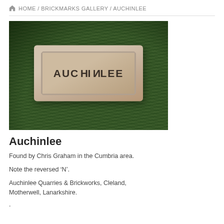HOME / BRICKMARKS GALLERY / AUCHINLEE
[Figure (photo): Photograph of an old clay brick with the text AUCHINLEE impressed into it, lying on grass. The N in AUCHINLEE is reversed. The brick is pale/cream coloured, weathered, with a recessed frog panel.]
Auchinlee
Found by Chris Graham in the Cumbria area.
Note the reversed ‘N’.
Auchinlee Quarries & Brickworks, Cleland, Motherwell, Lanarkshire.
.